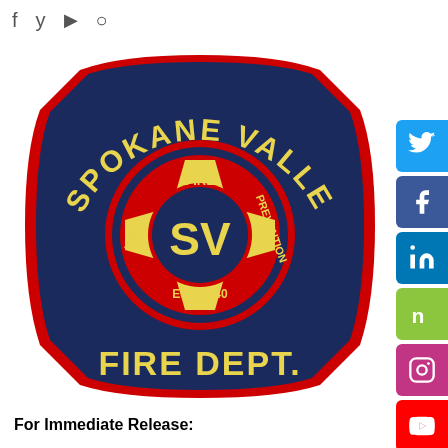f  y  ▶  📷 (social media icons)
[Figure (logo): Spokane Valley Fire Dept. badge/patch logo. Dark navy blue octagonal badge shape with red border. Central Maltese cross in red and yellow with 'SV' monogram. Text arcing around top: 'SPOKANE VALLEY'. Text on cross: 'FIRE', 'EMS', 'PREVENTION', 'EST. 1940'. Bottom text: 'FIRE DEPT.' in yellow.]
For Immediate Release: